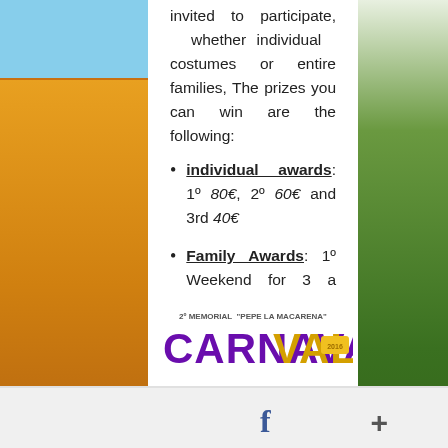invited to participate, whether individual costumes or entire families, The prizes you can win are the following:
individual awards: 1º 80€, 2º 60€ and 3rd 40€
Family Awards: 1º Weekend for 3 a Warner Bros Park Madrid, 2º and 3º Snacks for 3 from 4 people in a pizzeria in the village.
[Figure (logo): 2º Memorial 'Pepe la Macarena' Carnaval logo with purple and gold lettering]